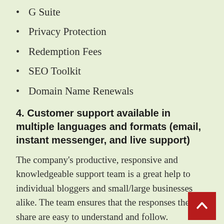G Suite
Privacy Protection
Redemption Fees
SEO Toolkit
Domain Name Renewals
4. Customer support available in multiple languages and formats (email, instant messenger, and live support)
The company's productive, responsive and knowledgeable support team is a great help to individual bloggers and small/large businesses alike. The team ensures that the responses they share are easy to understand and follow. Additionally, the Live Chat team responds with in few minutes.